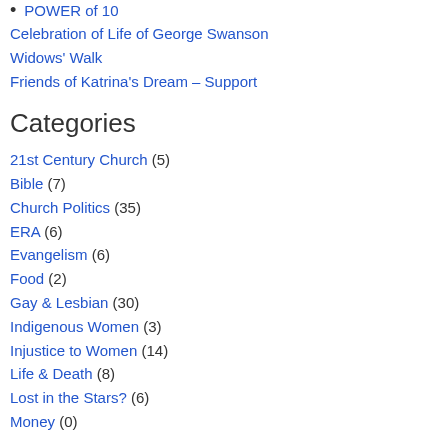POWER of 10
Celebration of Life of George Swanson
Widows' Walk
Friends of Katrina's Dream – Support
Categories
21st Century Church (5)
Bible (7)
Church Politics (35)
ERA (6)
Evangelism (6)
Food (2)
Gay & Lesbian (30)
Indigenous Women (3)
Injustice to Women (14)
Life & Death (8)
Lost in the Stars? (6)
Money (0)